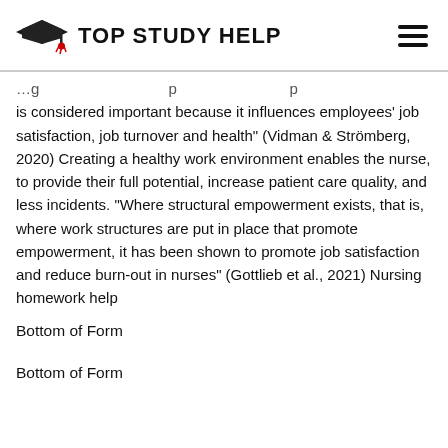TOP STUDY HELP
is considered important because it influences employees' job satisfaction, job turnover and health" (Vidman & Strömberg, 2020) Creating a healthy work environment enables the nurse, to provide their full potential, increase patient care quality, and less incidents. “Where structural empowerment exists, that is, where work structures are put in place that promote empowerment, it has been shown to promote job satisfaction and reduce burn-out in nurses” (Gottlieb et al., 2021) Nursing homework help
Bottom of Form
Bottom of Form